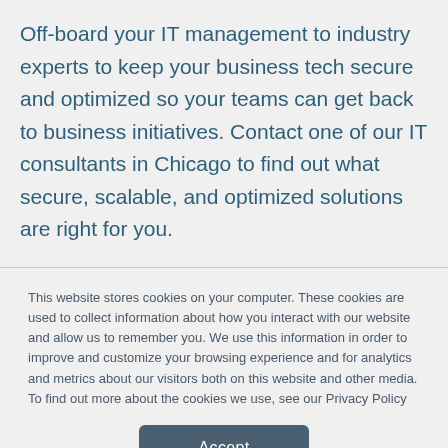Off-board your IT management to industry experts to keep your business tech secure and optimized so your teams can get back to business initiatives. Contact one of our IT consultants in Chicago to find out what secure, scalable, and optimized solutions are right for you.
This website stores cookies on your computer. These cookies are used to collect information about how you interact with our website and allow us to remember you. We use this information in order to improve and customize your browsing experience and for analytics and metrics about our visitors both on this website and other media. To find out more about the cookies we use, see our Privacy Policy